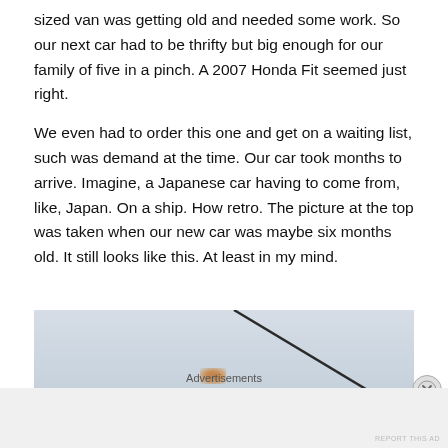sized van was getting old and needed some work. So our next car had to be thrifty but big enough for our family of five in a pinch. A 2007 Honda Fit seemed just right.
We even had to order this one and get on a waiting list, such was demand at the time. Our car took months to arrive. Imagine, a Japanese car having to come from, like, Japan. On a ship. How retro. The picture at the top was taken when our new car was maybe six months old. It still looks like this. At least in my mind.
[Figure (photo): A close-up photo showing a diagonal dark line (possibly an antenna or trim strip) against a light grey-blue sky or surface background, with a small rust or debris spot visible near the center.]
Advertisements